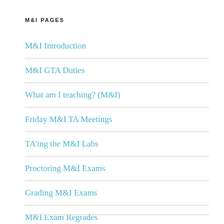M&I PAGES
M&I Introduction
M&I GTA Duties
What am I teaching? (M&I)
Friday M&I TA Meetings
TA'ing the M&I Labs
Proctoring M&I Exams
Grading M&I Exams
M&I Exam Regrades